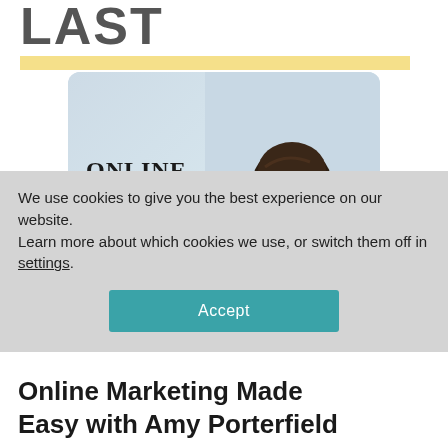LAST
[Figure (photo): Podcast cover art for 'Online Marketing Made Easy' featuring a smiling woman with long dark hair wearing a blue blazer, on a light blue-grey background. Text on the left reads ONLINE MARKETING made easy in serif font.]
We use cookies to give you the best experience on our website.
Learn more about which cookies we use, or switch them off in settings.
Accept
Online Marketing Made Easy with Amy Porterfield